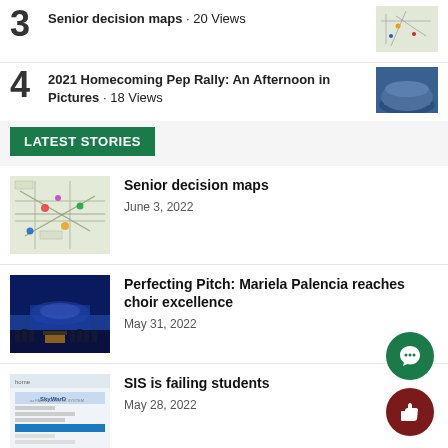3 Senior decision maps · 20 Views
4 2021 Homecoming Pep Rally: An Afternoon in Pictures · 18 Views
LATEST STORIES
[Figure (map): Senior decision maps thumbnail - map with colored pins]
Senior decision maps
June 3, 2022
[Figure (photo): Choir performance on stage with blue lighting]
Perfecting Pitch: Mariela Palencia reaches choir excellence
May 31, 2022
[Figure (screenshot): SIS website screenshot]
SIS is failing students
May 28, 2022